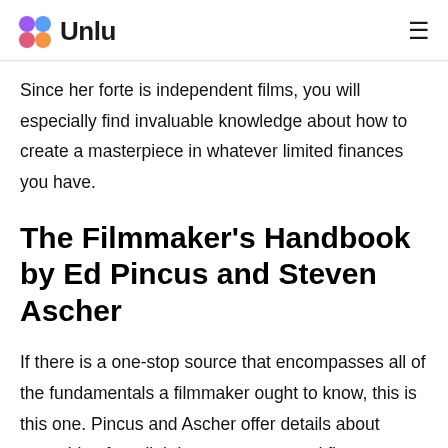Unlu
Since her forte is independent films, you will especially find invaluable knowledge about how to create a masterpiece in whatever limited finances you have.
The Filmmaker's Handbook by Ed Pincus and Steven Ascher
If there is a one-stop source that encompasses all of the fundamentals a filmmaker ought to know, this is this one. Pincus and Ascher offer details about everything from lighting, crew, cast and finances to